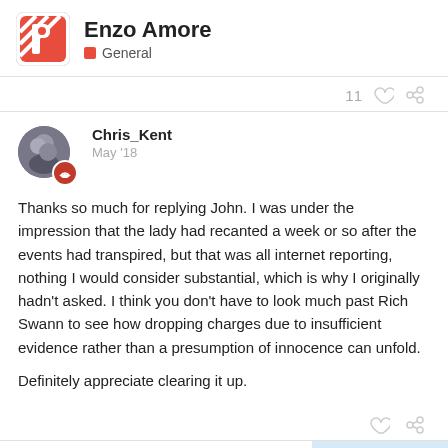Enzo Amore — General
11
Chris_Kent — May '18
Thanks so much for replying John. I was under the impression that the lady had recanted a week or so after the events had transpired, but that was all internet reporting, nothing I would consider substantial, which is why I originally hadn't asked. I think you don't have to look much past Rich Swann to see how dropping charges due to insufficient evidence rather than a presumption of innocence can unfold.

Definitely appreciate clearing it up.
TarpitCarnivore — 6 / 41